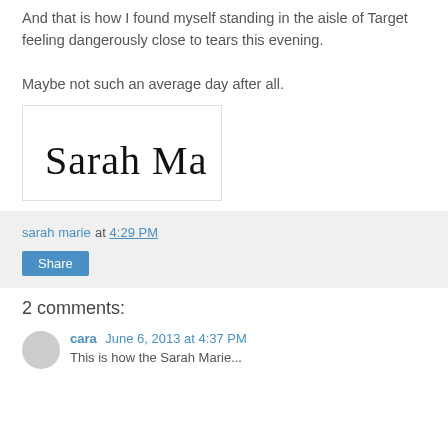And that is how I found myself standing in the aisle of Target feeling dangerously close to tears this evening.
Maybe not such an average day after all.
[Figure (illustration): Cursive handwritten signature reading 'Sarah Marie' in black ink on white background with a light border]
sarah marie at 4:29 PM
Share
2 comments:
cara June 6, 2013 at 4:37 PM
This is how the Sarah Marie...